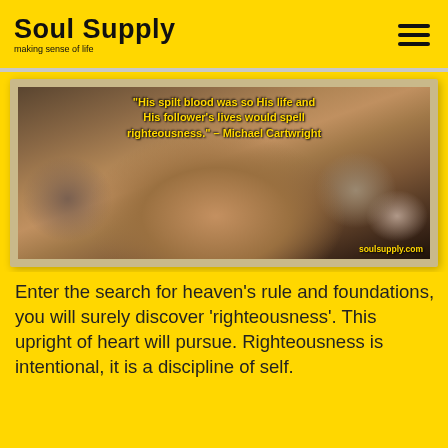Soul Supply — making sense of life
[Figure (photo): A man carrying a cross in a crowd scene, with a quote overlay: '"His spilt blood was so His life and His follower's lives would spell righteousness." - Michael Cartwright' and watermark 'soulsupply.com'. The image is set on a textured tan/beige card background.]
Enter the search for heaven's rule and foundations, you will surely discover 'righteousness'. This upright of heart will pursue. Righteousness is intentional, it is a discipline of self.